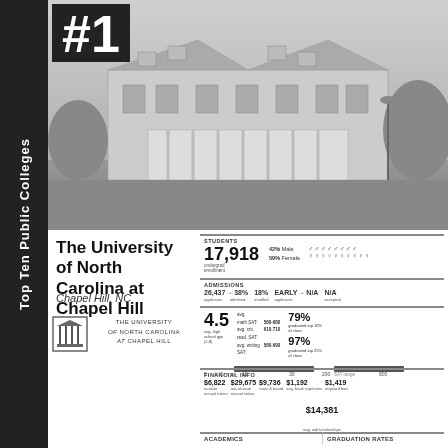Top Ten Public Colleges
[Figure (photo): Black and white photo of a University of North Carolina at Chapel Hill campus building, colonial-style architecture with columns and large windows, trees surrounding]
The University of North Carolina at Chapel Hill
Chapel Hill, NC
[Figure (logo): University of North Carolina at Chapel Hill official logo with columns]
THE UNIVERSITY of NORTH CAROLINA at CHAPEL HILL
| STUDENTS |  |  |
| --- | --- | --- |
| 17,918 | 42% Male | ♂♂♂♂♂♂♂♂ |
| undergrad enrollment | 59% Female | ♀♀♀♀♀♀♀♀♀♀ |
| ADMISSIONS |  |  |  |  |
| --- | --- | --- | --- | --- |
| 26,437 → 38% | 18% | EARLY → N/A | N/A |
| applicants admitted | enrolled | applicants | accepted |
|  |  |  |  |
| --- | --- | --- | --- |
| 4.5 avg. high school gpa (2-8) | avg. math SAT: 580-680; avg. crit. read. SAT: 610-710; avg. writing SAT: 580-690 | 79% graduated top 10% of class | 97% graduated top 25% of class |
| FINANCIAL INFO |  |  |  |
| --- | --- | --- | --- |
| in-state: $6,822 | out-of-state: $29,675 | $9,736 room & board | $1,192 avg. book expenses | $1,419 required fees |
$14,381 avg. aid/scholarships
ACADEMICS
GRADUATION RATES